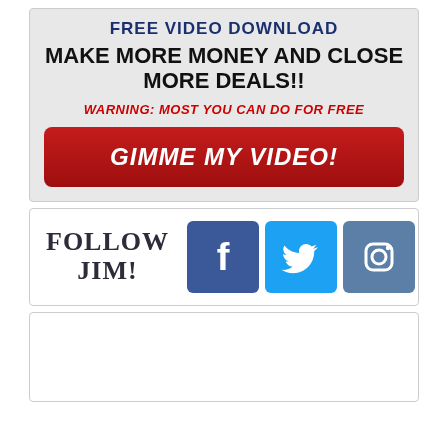[Figure (infographic): Advertisement banner with 'FREE VIDEO DOWNLOAD' header, 'MAKE MORE MONEY AND CLOSE MORE DEALS!!' headline, 'WARNING: MOST YOU CAN DO FOR FREE' warning text in red italic, and a red button saying 'GIMME MY VIDEO!']
[Figure (infographic): Social media follow section with 'FOLLOW JIM!' text and Facebook, Twitter, and Instagram icon buttons]
[Figure (other): Empty white box section at the bottom]